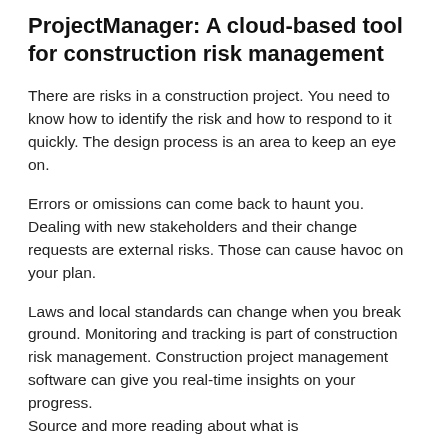ProjectManager: A cloud-based tool for construction risk management
There are risks in a construction project. You need to know how to identify the risk and how to respond to it quickly. The design process is an area to keep an eye on.
Errors or omissions can come back to haunt you. Dealing with new stakeholders and their change requests are external risks. Those can cause havoc on your plan.
Laws and local standards can change when you break ground. Monitoring and tracking is part of construction risk management. Construction project management software can give you real-time insights on your progress.
Source and more reading about what is